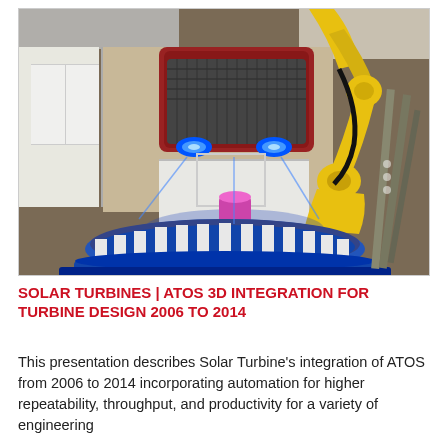[Figure (photo): A yellow industrial robotic arm holding a red/dark sensor unit with blue lights, positioned over a circular gear-like object on a blue base. The setting appears to be an indoor lab or workshop with white cabinets in the background.]
SOLAR TURBINES | ATOS 3D INTEGRATION FOR TURBINE DESIGN 2006 TO 2014
This presentation describes Solar Turbine's integration of ATOS from 2006 to 2014 incorporating automation for higher repeatability, throughput, and productivity for a variety of engineering